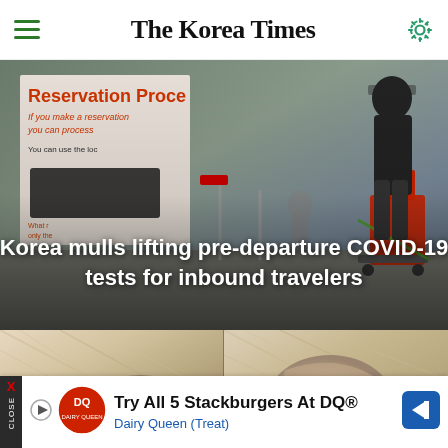The Korea Times
[Figure (photo): Airport scene with a reservation procedure sign and a traveler with luggage, overlaid with headline text: Korea mulls lifting pre-departure COVID-19 tests for inbound travelers]
Korea mulls lifting pre-departure COVID-19 tests for inbound travelers
[Figure (photo): Close-up split photo of a child's ear (left and right panels side by side)]
Try All 5 Stackburgers At DQ® Dairy Queen (Treat)